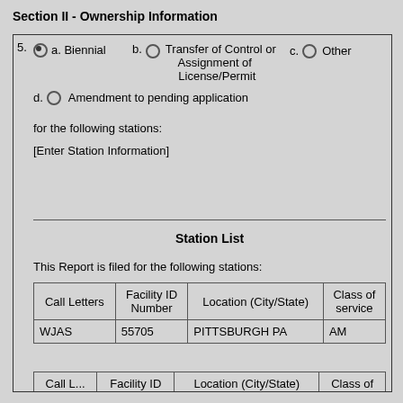Section II - Ownership Information
5. a. (filled) Biennial   b. (empty) Transfer of Control or Assignment of License/Permit   c. (empty) Other
d. (empty) Amendment to pending application
for the following stations:
[Enter Station Information]
Station List
This Report is filed for the following stations:
| Call Letters | Facility ID Number | Location (City/State) | Class of service |
| --- | --- | --- | --- |
| WJAS | 55705 | PITTSBURGH PA | AM |
| Call Letters | Facility ID | Location (City/State) | Class of |
| --- | --- | --- | --- |